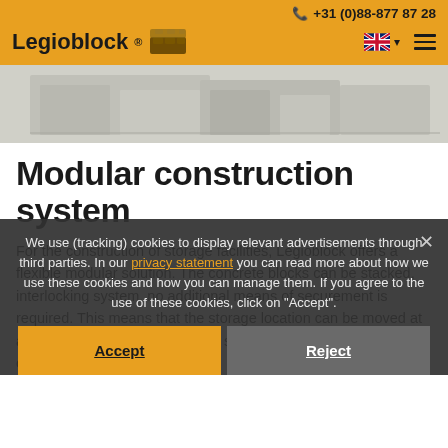+31 (0)88-877 87 28
[Figure (logo): Legioblock logo with interlocking block icon]
[Figure (photo): Hero image showing storage or construction facility in grayscale]
Modular construction system
For the construction of storage facilities, Legioblock offers a flexible modular solution. The concrete blocks can be stacked, interlocking system, no additional means of securement is required. This means that the storage location can be moved at any time and quickly adapted to suit your required storage capacity.
We use (tracking) cookies to display relevant advertisements through third parties. In our privacy statement you can read more about how we use these cookies and how you can manage them. If you agree to the use of these cookies, click on "Accept".